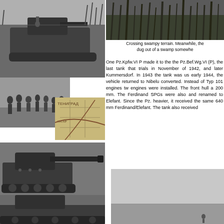[Figure (photo): Black and white photo of a tank crossing terrain with vegetation/reeds in background]
[Figure (photo): Black and white photo of a group of soldiers/people]
[Figure (other): Fragment of a map with Cyrillic text (ТЕНИГРАД, КАТАР area)]
[Figure (photo): Black and white photo of a tank with a long gun barrel facing right]
[Figure (photo): Partial black and white photo of another tank, bottom portion]
[Figure (photo): Black and white photo of swampy terrain with reeds/vegetation silhouettes]
Crossing swampy terrain. Meanwhile, the dug out of a swamp somewhe
One Pz.Kpfw.VI P made it to the the Pz.Bef.Wg.VI (P), the last tank that trials in November of 1942, and later Kummersdorf. In 1943 the tank was us early 1944, the vehicle returned to Nibelu converted. Instead of Typ 101 engines tw engines were installed. The front hull a 200 mm. The Ferdinand SPGs were also and renamed to Elefant. Since the Pz. heavier, it received the same 640 mm Ferdinand/Elefant. The tank also received
[Figure (photo): Black and white photo of an open field or landscape, very light, with a small human figure visible in the distance]